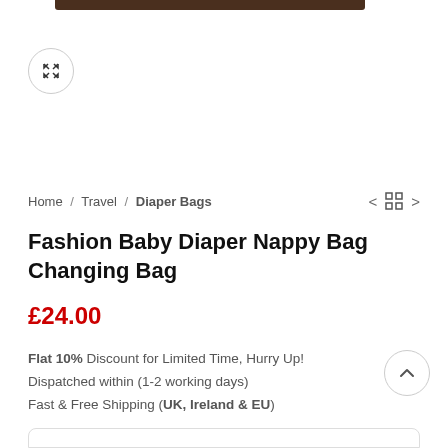[Figure (photo): Top portion of a dark brown diaper bag product image, partially visible at the top of the page]
Home / Travel / Diaper Bags
Fashion Baby Diaper Nappy Bag Changing Bag
£24.00
Flat 10% Discount for Limited Time, Hurry Up! Dispatched within (1-2 working days) Fast & Free Shipping (UK, Ireland & EU)